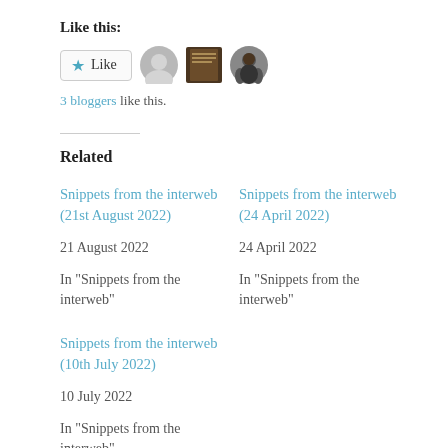Like this:
3 bloggers like this.
Related
Snippets from the interweb (21st August 2022)
21 August 2022
In "Snippets from the interweb"
Snippets from the interweb (24 April 2022)
24 April 2022
In "Snippets from the interweb"
Snippets from the interweb (10th July 2022)
10 July 2022
In "Snippets from the interweb"